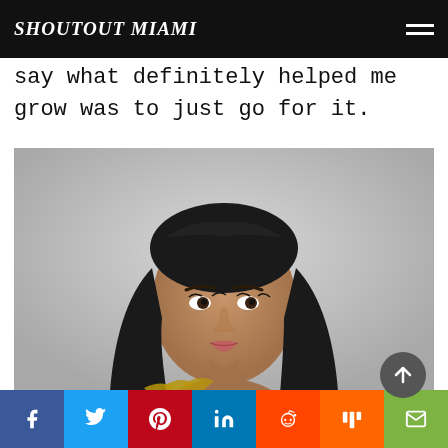SHOUTOUT MIAMI
say what definitely helped me grow was to just go for it.
[Figure (photo): Portrait photo of a young woman with long dark hair, hand resting near her face, looking upward, against a light gray background, wearing an accessory with golden thorns.]
Share icons: Facebook, Twitter, Pinterest, LinkedIn, Reddit, Mix, Email